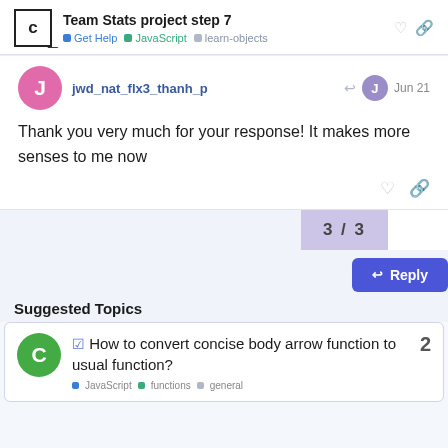Team Stats project step 7 | Get Help | JavaScript | learn-objects
Thank you very much for your response! It makes more senses to me now
3 / 3
Suggested Topics
How to convert concise body arrow function to usual function?